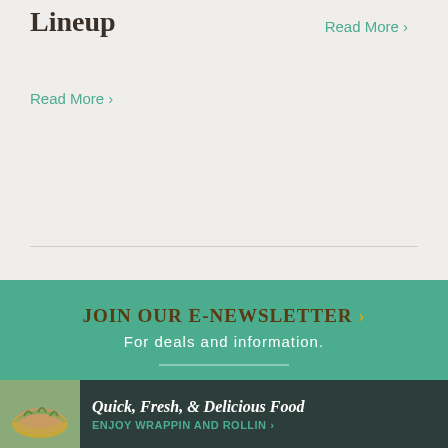Lineup
Read More >
Read More >
JOIN OUR E-NEWSLETTER >
For deals and information.
GET A VISITOR GUIDE >
Plan the perfect trip!
close
Quick, Fresh, & Delicious Food
ENJOY WRAPPIN AND ROLLIN >